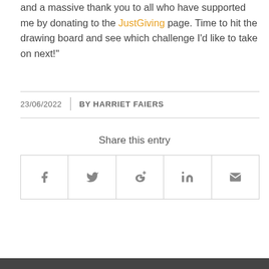and a massive thank you to all who have supported me by donating to the JustGiving page. Time to hit the drawing board and see which challenge I'd like to take on next!"
23/06/2022 | BY HARRIET FAIERS
Share this entry
[Figure (other): Social share buttons row: Facebook, Twitter, Google+, LinkedIn, Email]